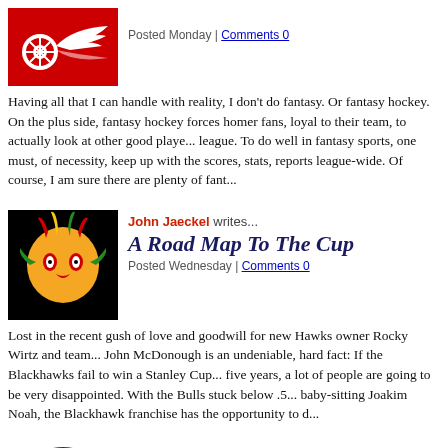[Figure (logo): Detroit Red Wings logo on red background]
Posted Monday | Comments 0
Having all that I can handle with reality, I don't do fantasy. Or fantasy hockey. On the plus side, fantasy hockey forces homer fans, loyal to their team, to actually look at other good players in the league. To do well in fantasy sports, one must, of necessity, keep up with the scores, stats, and reports league-wide. Of course, I am sure there are plenty of fant...
[Figure (logo): Chicago Blackhawks logo on black background]
John Jaeckel writes...
A Road Map To The Cup
Posted Wednesday | Comments 0
Lost in the recent gush of love and goodwill for new Hawks owner Rocky Wirtz and team president John McDonough is an undeniable, hard fact: If the Blackhawks fail to win a Stanley Cup in the next five years, a lot of people are going to be very disappointed. With the Bulls stuck below .500 and baby-sitting Joakim Noah, the Blackhawk franchise has the opportunity to d...
[Figure (logo): Winnipeg Jets logo on blue background]
duckyjets writes...
My Run in With Lord Stanley
Posted Sunday | Comments 0
I was just in Riverton Manitoba home of the "Riverton Rifle" (Reggie Leetch) He puts on a hockey tournament for the kids and has a huge auction of hockey memrabelia and raises money for the hockey rink in Riverton. This year he brought a dear friend of his (Lord Stanley). I got to be with them and I got to have my picture taken. I noticed that th...